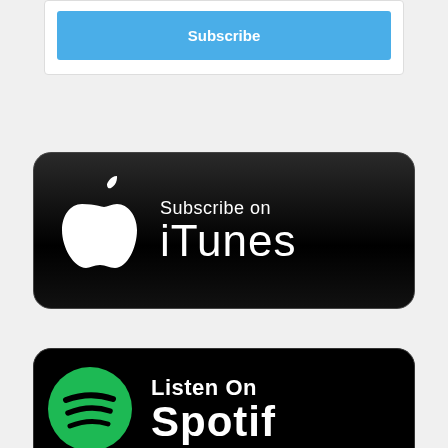[Figure (screenshot): Subscribe button — blue rounded rectangle with white bold text 'Subscribe']
[Figure (logo): Subscribe on iTunes badge — black rounded rectangle with Apple logo and white text 'Subscribe on iTunes']
[Figure (logo): Listen On Spotify badge — black rounded rectangle with Spotify green logo and white text 'Listen On Spotif...' (partially visible)]